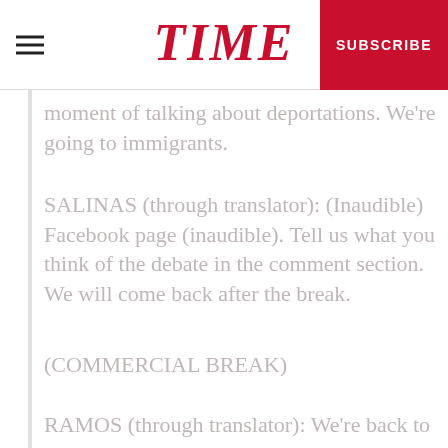TIME — SUBSCRIBE
moment of talking about deportations. We're going to immigrants.
SALINAS (through translator): (Inaudible) Facebook page (inaudible). Tell us what you think of the debate in the comment section. We will come back after the break.
(COMMERCIAL BREAK)
RAMOS (through translator): We're back to the Democratic debate.
Secretary Clinton, the last time we talked in